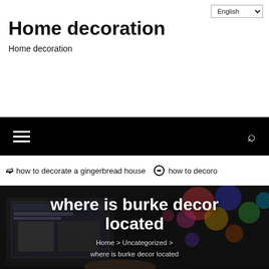Home decoration
Home decoration
[Figure (screenshot): Black navigation bar with hamburger menu icon on the left and search icon on the right]
❯ how to decorate a gingerbread house  ⊙ how to decoro
[Figure (photo): Dark hero image showing a laptop screen with a website and colorful bokeh lights in the background. Overlaid bold white text reads 'where is burke decor located' with breadcrumb navigation 'Home > Uncategorized > where is burke decor located']
Home > Uncategorized > where is burke decor located